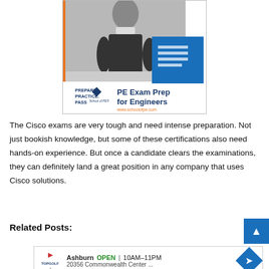[Figure (illustration): Advertisement for School of PE showing a black-and-white photo of a smiling professional at a desk, with blue square graphic, text 'PREPARE. PRACTICE. PASS.', bold heading 'PE Exam Prep for Engineers', School of PE logo, and website www.schoolofpe.com in orange.]
The Cisco exams are very tough and need intense preparation. Not just bookish knowledge, but some of these certifications also need hands-on experience. But once a candidate clears the examinations, they can definitely land a great position in any company that uses Cisco solutions.
Related Posts:
[Figure (other): Bottom advertisement: Topgolf Ashburn, OPEN 10AM-11PM, 20356 Commonwealth Center..., with navigation arrow icon]